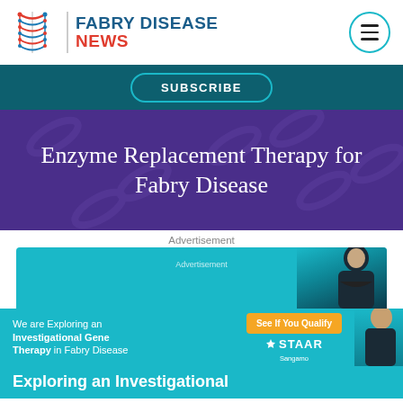[Figure (logo): Fabry Disease News logo with DNA helix graphic and brand name]
SUBSCRIBE
Enzyme Replacement Therapy for Fabry Disease
Advertisement
[Figure (infographic): Advertisement banner for investigational gene therapy in Fabry Disease by STAAR Sangamo with 'See If You Qualify' button and person photo]
Exploring an Investigational